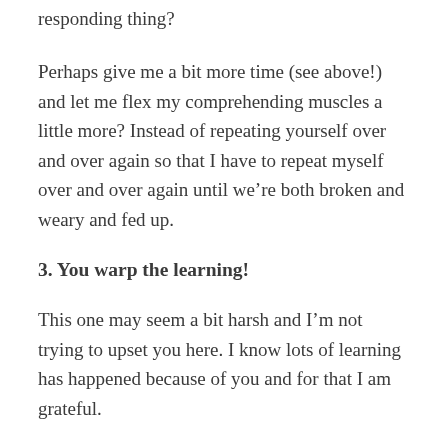responding thing?
Perhaps give me a bit more time (see above!) and let me flex my comprehending muscles a little more? Instead of repeating yourself over and over again so that I have to repeat myself over and over again until we’re both broken and weary and fed up.
3. You warp the learning!
This one may seem a bit harsh and I’m not trying to upset you here. I know lots of learning has happened because of you and for that I am grateful.